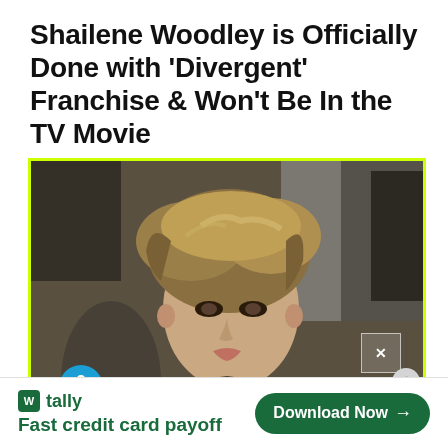Shailene Woodley is Officially Done with 'Divergent' Franchise & Won't Be In the TV Movie
[Figure (photo): Photo of Shailene Woodley as her character from the Divergent franchise, with short tousled blonde hair, looking off to the side. Photo has a yellow-green border. An X close button appears in the lower-right area. A blue accessibility icon appears in the lower-left.]
[Figure (infographic): Advertisement banner for Tally app. Green Tally logo with 'W' icon, tagline 'Fast credit card payoff', and a green 'Download Now →' button on the right.]